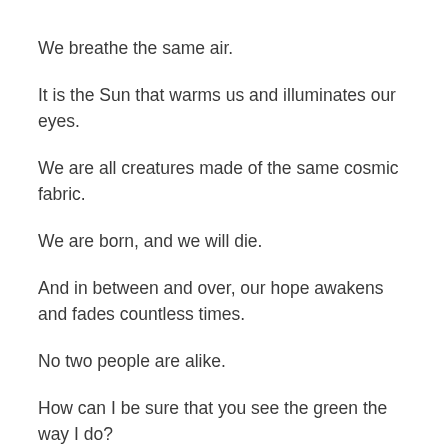We breathe the same air.
It is the Sun that warms us and illuminates our eyes.
We are all creatures made of the same cosmic fabric.
We are born, and we will die.
And in between and over, our hope awakens and fades countless times.
No two people are alike.
How can I be sure that you see the green the way I do?
How can I tell that you understand the same word the way I do?
Mutual understanding allows us to experience a small